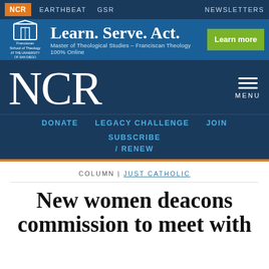NCR  EARTHBEAT  GSR  NEWSLETTERS
[Figure (advertisement): Franciscan School of Theology ad: Learn. Serve. Act. Master of Theological Studies - Franciscan Theology 100% Online. Learn more button.]
NCR
DONATE  LEGACY CHALLENGE  JOIN  SUBSCRIBE / RENEW
COLUMN | JUST CATHOLIC
New women deacons commission to meet with unclear agenda